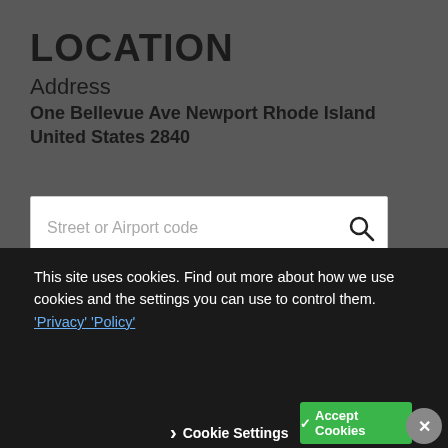LOCATION
Address
One Bellevue Ave Newport Rhode Island United States 2840
Street or Airport code
GET DIRECTIONS
This site uses cookies. Find out more about how we use cookies and the settings you can use to control them. 'Privacy' 'Policy'
Cookie Settings
Accept Cookies